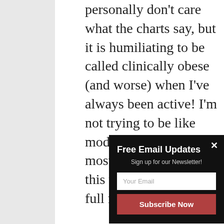personally don't care what the charts say, but it is humiliating to be called clinically obese (and worse) when I've always been active! I'm not trying to be like model, but I think like most people who do this way of life hea can full my som eve to b
[Figure (screenshot): Email newsletter signup popup overlay with dark background, title 'Free Email Updates', subtitle 'Sign up for our Newsletter!', an email input field with placeholder 'Your Email', and a red 'Subscribe Now' button. A close button (×) is in the top right corner.]